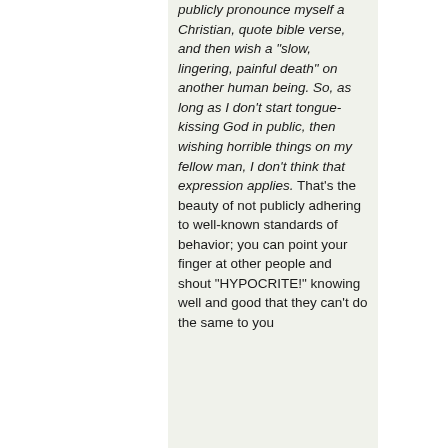publicly pronounce myself a Christian, quote bible verse, and then wish a "slow, lingering, painful death" on another human being. So, as long as I don't start tongue-kissing God in public, then wishing horrible things on my fellow man, I don't think that expression applies. That's the beauty of not publicly adhering to well-known standards of behavior; you can point your finger at other people and shout "HYPOCRITE!" knowing well and good that they can't do the same to you